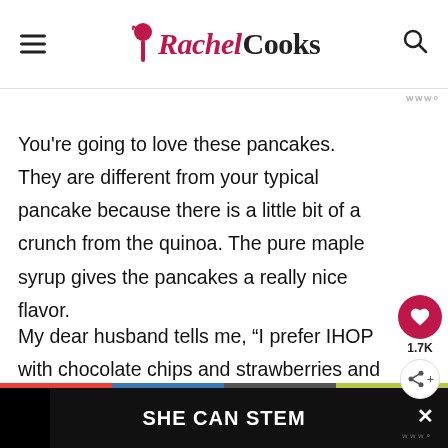Rachel Cooks
You're going to love these pancakes. They are different from your typical pancake because there is a little bit of a crunch from the quinoa. The pure maple syrup gives the pancakes a really nice flavor.
My dear husband tells me, “I prefer IHOP with chocolate chips and strawberries and whipped cream.” That’s my healthy hubby! No really, he is a
[Figure (other): SHE CAN STEM advertisement banner at the bottom of the page]
SHE CAN STEM